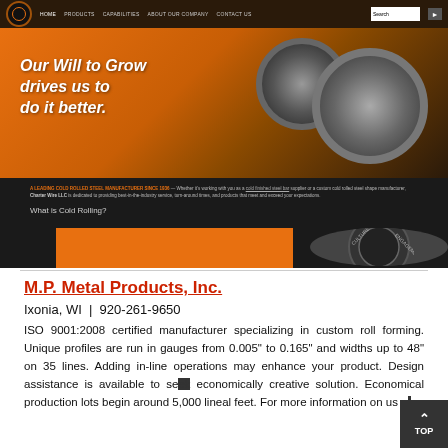[Figure (screenshot): Screenshot of Charter Wire LLC website homepage showing navigation bar with logo, HOME, PRODUCTS, CAPABILITIES, ABOUT OUR COMPANY, CONTACT US links and search box. Hero banner with orange/dark gradient background showing text 'Our Will to Grow drives us to do it better.' in italic bold white with steel coil images. Below is a dark section with text 'A LEADING COLD ROLLED STEEL MANUFACTURER SINCE 1936 — Whether it's working with you as a cold finished steel bar supplier or a custom cold rolled steel shape manufacturer, Charter Wire LLC is dedicated to providing best-in-the-industry service, turn-around times, and products that meet and exceed your expectations.' and subtitle 'What is Cold Rolling?' with orange and dark image boxes below.]
M.P. Metal Products, Inc.
Ixonia, WI  |  920-261-9650
ISO 9001:2008 certified manufacturer specializing in custom roll forming. Unique profiles are run in gauges from 0.005" to 0.165" and widths up to 48" on 35 lines. Adding in-line operations may enhance your product. Design assistance is available to seek economically creative solution. Economical production lots begin around 5,000 lineal feet. For more information on us or our